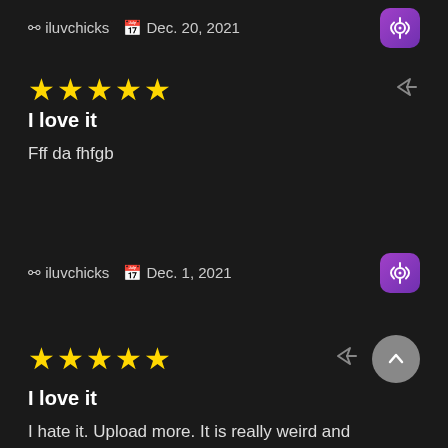iluvchicks   Dec. 20, 2021
★★★★★
I love it
Fff da fhfgb
iluvchicks   Dec. 1, 2021
★★★★★
I love it
I hate it. Upload more. It is really weird and irrelevant. Feature on this podcast please and